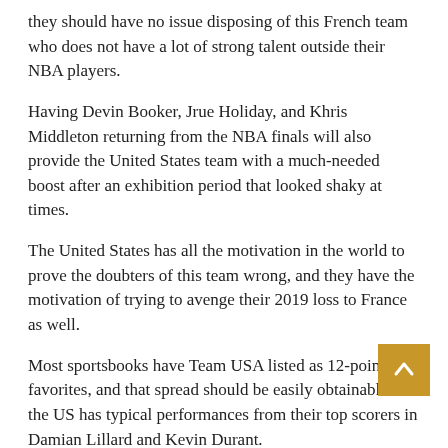they should have no issue disposing of this French team who does not have a lot of strong talent outside their NBA players.
Having Devin Booker, Jrue Holiday, and Khris Middleton returning from the NBA finals will also provide the United States team with a much-needed boost after an exhibition period that looked shaky at times.
The United States has all the motivation in the world to prove the doubters of this team wrong, and they have the motivation of trying to avenge their 2019 loss to France as well.
Most sportsbooks have Team USA listed as 12-point favorites, and that spread should be easily obtainable if the US has typical performances from their top scorers in Damian Lillard and Kevin Durant.
Final Pick: United States -12 (-110)